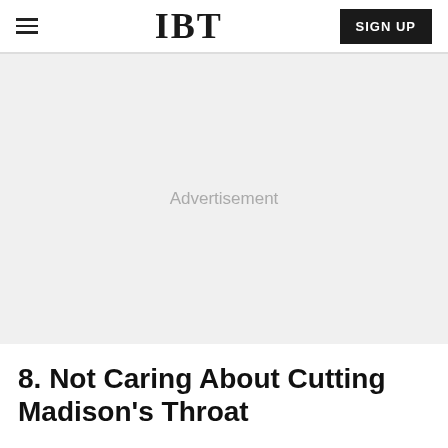IBT | SIGN UP
[Figure (other): Advertisement placeholder area with light gray background and centered 'Advertisement' text]
8. Not Caring About Cutting Madison's Throat